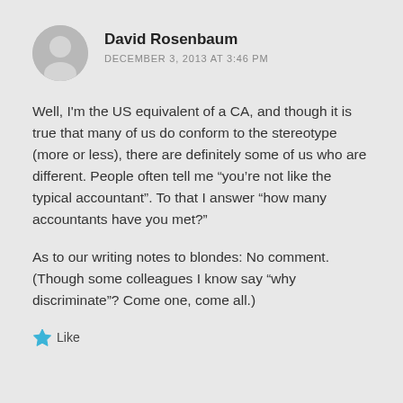David Rosenbaum
DECEMBER 3, 2013 AT 3:46 PM
Well, I'm the US equivalent of a CA, and though it is true that many of us do conform to the stereotype (more or less), there are definitely some of us who are different. People often tell me “you’re not like the typical accountant”. To that I answer “how many accountants have you met?”
As to our writing notes to blondes: No comment. (Though some colleagues I know say “why discriminate”? Come one, come all.)
Like